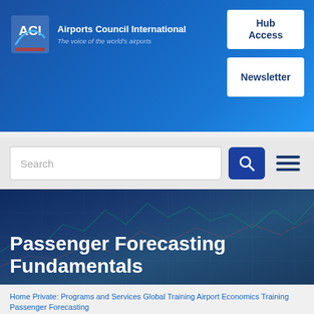[Figure (logo): ACI (Airports Council International) logo with blue square icon and text 'Airports Council International — The voice of the world's airports']
Hub Access
Newsletter
[Figure (screenshot): Search bar with search button and hamburger menu icon on grey navigation bar]
Passenger Forecasting Fundamentals
Home Private: Programs and Services Global Training Airport Economics Training Passenger Forecasting